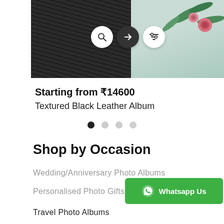[Figure (photo): Product photo of a textured black leather album with decorative embossing, shown on a teal/mint background with pink roses and green leaves]
Starting from ₹14600
Textured Black Leather Album
Shop by Occasion
Wedding/Anniversary Photo Albums
Personalised Photo Gifts
Travel Photo Albums